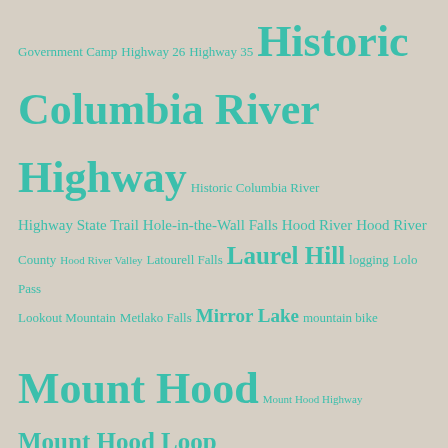Government Camp Highway 26 Highway 35 Historic Columbia River Highway Historic Columbia River Highway State Trail Hole-in-the-Wall Falls Hood River Hood River County Hood River Valley Latourell Falls Laurel Hill logging Lolo Pass Lookout Mountain Metlako Falls Mirror Lake mountain bike Mount Hood Mount Hood Highway Mount Hood Loop Highway Mount Hood National Forest Mount Hood National Park Campaign Mount Hood National Recreation Area Multnomah Falls ODOT Old Vista Ridge Trail Oneonta Gorge Owl Point Pacific Crest Trail Palmer Glacier parking poison oak Punch Bowl Falls Rhododendron Salmon River Samuel Lancaster Shepperd's Dell Surveyors Ridge Tamanawas Falls Timberline Lodge Timberline Trail TKO Trailkeepers of Oregon U.S. Forest Service US 26 USFS Wahclella Falls Warren Creek Warrendale Warren Falls West Fork Hood River White River White River Falls